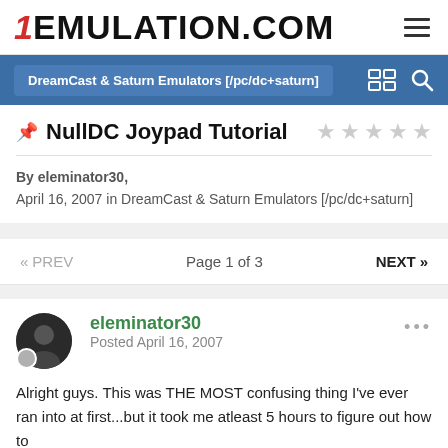1Emulation.com
DreamCast & Saturn Emulators [/pc/dc+saturn]
NullDC Joypad Tutorial
By eleminator30,
April 16, 2007 in DreamCast & Saturn Emulators [/pc/dc+saturn]
« PREV   Page 1 of 3   NEXT »
eleminator30
Posted April 16, 2007
Alright guys. This was THE MOST confusing thing I've ever ran into at first...but it took me atleast 5 hours to figure out how to